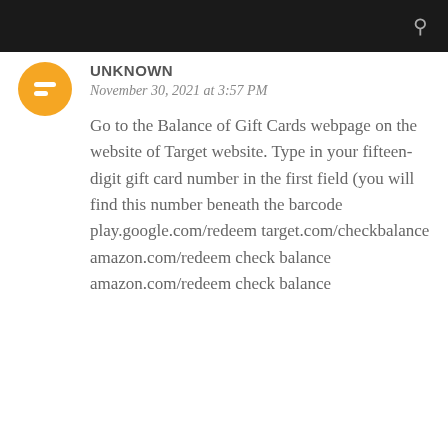UNKNOWN
November 30, 2021 at 3:57 PM
Go to the Balance of Gift Cards webpage on the website of Target website. Type in your fifteen-digit gift card number in the first field (you will find this number beneath the barcode play.google.com/redeem target.com/checkbalance amazon.com/redeem check balance amazon.com/redeem check balance